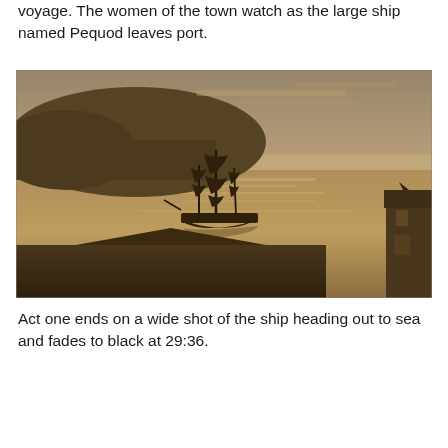voyage. The women of the town watch as the large ship named Pequod leaves port.
[Figure (photo): Sepia-toned photograph of a tall sailing ship (the Pequod) sailing on calm water near a rocky headland, with a lighthouse visible in the lower right corner and a building in the lower foreground.]
Act one ends on a wide shot of the ship heading out to sea and fades to black at 29:36.